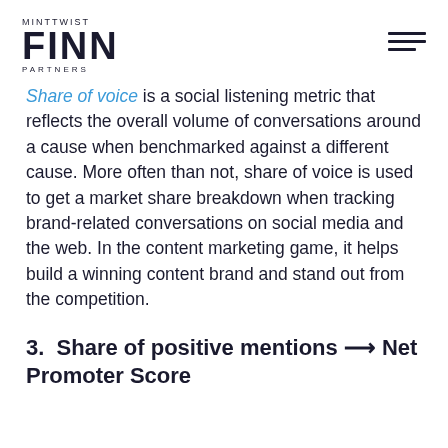MINTTWIST FINN PARTNERS
Share of voice is a social listening metric that reflects the overall volume of conversations around a cause when benchmarked against a different cause. More often than not, share of voice is used to get a market share breakdown when tracking brand-related conversations on social media and the web. In the content marketing game, it helps build a winning content brand and stand out from the competition.
3.  Share of positive mentions ⟶ Net Promoter Score